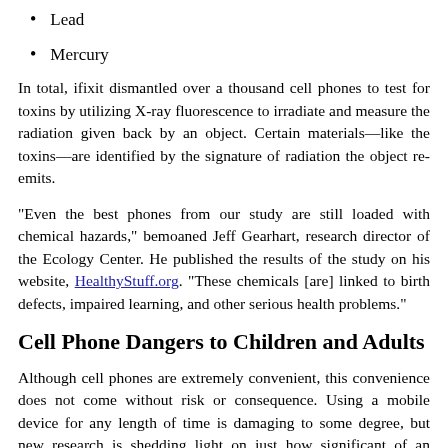Lead
Mercury
In total, ifixit dismantled over a thousand cell phones to test for toxins by utilizing X-ray fluorescence to irradiate and measure the radiation given back by an object. Certain materials—like the toxins—are identified by the signature of radiation the object re-emits.
“Even the best phones from our study are still loaded with chemical hazards,” bemoaned Jeff Gearhart, research director of the Ecology Center. He published the results of the study on his website, HealthyStuff.org. “These chemicals [are] linked to birth defects, impaired learning, and other serious health problems.”
Cell Phone Dangers to Children and Adults
Although cell phones are extremely convenient, this convenience does not come without risk or consequence. Using a mobile device for any length of time is damaging to some degree, but new research is shedding light on just how significant of an influence extended cellphone use has on the brain. In one study, it was